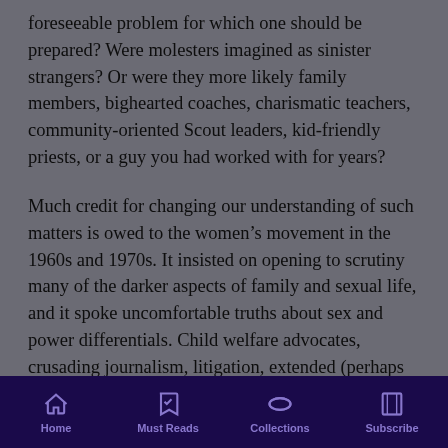foreseeable problem for which one should be prepared? Were molesters imagined as sinister strangers? Or were they more likely family members, bighearted coaches, charismatic teachers, community-oriented Scout leaders, kid-friendly priests, or a guy you had worked with for years?
Much credit for changing our understanding of such matters is owed to the women’s movement in the 1960s and 1970s. It insisted on opening to scrutiny many of the darker aspects of family and sexual life, and it spoke uncomfortable truths about sex and power differentials. Child welfare advocates, crusading journalism, litigation, extended (perhaps sometimes even exaggerated) views of liability for harm in a wide variety of areas—all have played a
Home | Must Reads | Collections | Subscribe